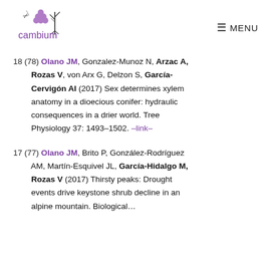cambium — MENU
18 (78) Olano JM, Gonzalez-Munoz N, Arzac A, Rozas V, von Arx G, Delzon S, García-Cervigón AI (2017) Sex determines xylem anatomy in a dioecious conifer: hydraulic consequences in a drier world. Tree Physiology 37: 1493–1502. –link–
17 (77) Olano JM, Brito P, González-Rodríguez AM, Martín-Esquivel JL, García-Hidalgo M, Rozas V (2017) Thirsty peaks: Drought events drive keystone shrub decline in an … Biological …